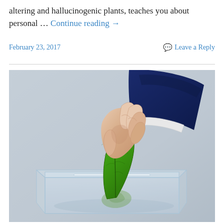altering and hallucinogenic plants, teaches you about personal … Continue reading →
February 23, 2017
Leave a Reply
[Figure (photo): A hand in a dark blue business suit sleeve holding a green leaf and inserting it into a transparent glass ballot box, against a light blue-grey background.]